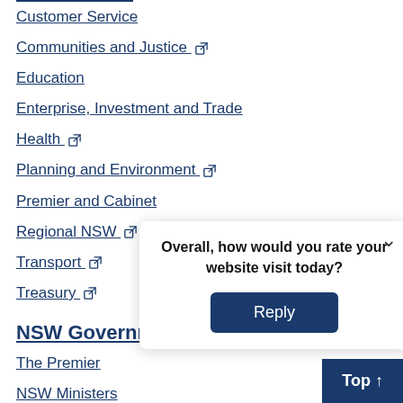Customer Service
Communities and Justice [external link]
Education
Enterprise, Investment and Trade
Health [external link]
Planning and Environment [external link]
Premier and Cabinet
Regional NSW [external link]
Transport [external link]
Treasury [external link]
NSW Government
The Premier
NSW Ministers
Find your local member of Parliament
Boards a...
NSW Go...
Overall, how would you rate your website visit today?
Reply